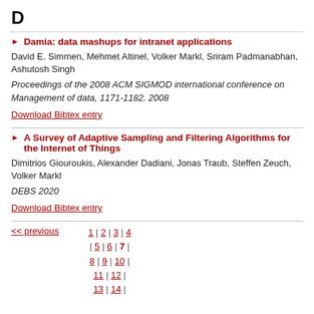D
Damia: data mashups for intranet applications
David E. Simmen, Mehmet Altinel, Volker Markl, Sriram Padmanabhan, Ashutosh Singh
Proceedings of the 2008 ACM SIGMOD international conference on Management of data, 1171-1182. 2008
Download Bibtex entry
A Survey of Adaptive Sampling and Filtering Algorithms for the Internet of Things
Dimitrios Giouroukis, Alexander Dadiani, Jonas Traub, Steffen Zeuch, Volker Markl
DEBS 2020
Download Bibtex entry
<< previous  1 | 2 | 3 | 4 | 5 | 6 | 7 | 8 | 9 | 10 | 11 | 12 | 13 | 14 |